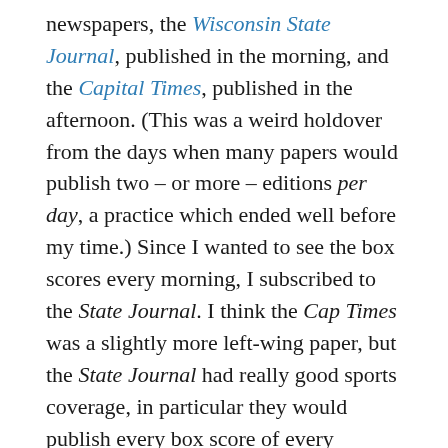newspapers, the Wisconsin State Journal, published in the morning, and the Capital Times, published in the afternoon. (This was a weird holdover from the days when many papers would publish two – or more – editions per day, a practice which ended well before my time.) Since I wanted to see the box scores every morning, I subscribed to the State Journal. I think the Cap Times was a slightly more left-wing paper, but the State Journal had really good sports coverage, in particular they would publish every box score of every baseball game, even if a game ran late and they had to run it a day later. I learned how important this was to me when I became immersed in fantasy baseball when I went back to visit my parents